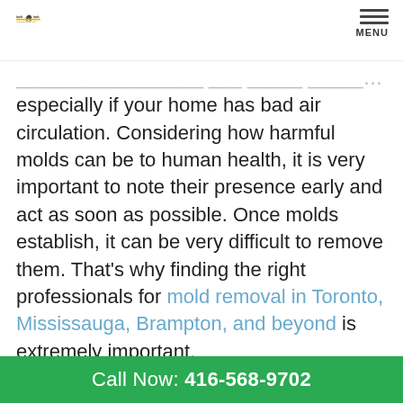inch by inch Inspections Inc. | MENU
especially if your home has bad air circulation. Considering how harmful molds can be to human health, it is very important to note their presence early and act as soon as possible. Once molds establish, it can be very difficult to remove them. That’s why finding the right professionals for mold removal in Toronto, Mississauga, Brampton, and beyond is extremely important.
SIGNS OF MOLD
The first rooms you want to inspect are bathroom, cellar, attic, and kitchen because moisture buildups
Call Now: 416-568-9702